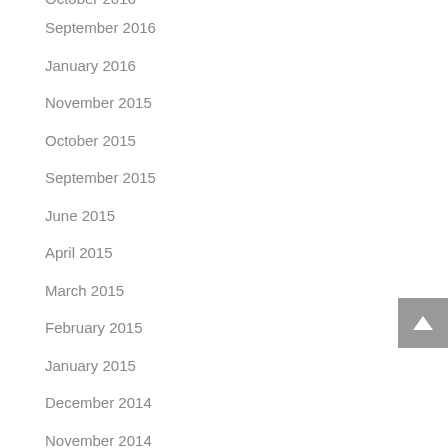October 2016
September 2016
January 2016
November 2015
October 2015
September 2015
June 2015
April 2015
March 2015
February 2015
January 2015
December 2014
November 2014
October 2014
September 2014